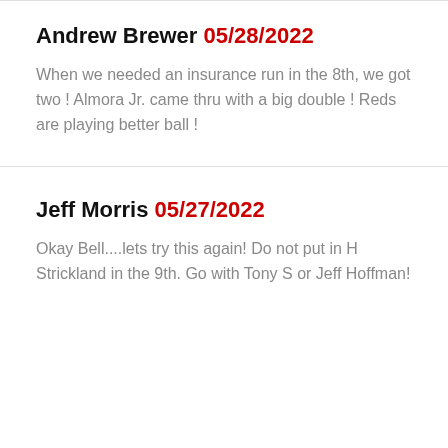Andrew Brewer 05/28/2022
When we needed an insurance run in the 8th, we got two ! Almora Jr. came thru with a big double ! Reds are playing better ball !
Jeff Morris 05/27/2022
Okay Bell....lets try this again! Do not put in H Strickland in the 9th. Go with Tony S or Jeff Hoffman!